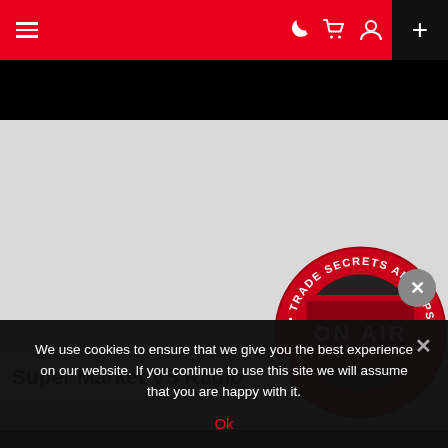Navigation bar with menu icon, dark mode, cart, user icons, and + button
[Figure (photo): Large light gray placeholder image area, with a circular badge reading 'TRADE SECRETS AND TIPS' overlapping the bottom right corner showing an 'ON AIR' sign photo inside, and a gray X close button]
Super Market VS Radio
We use cookies to ensure that we give you the best experience on our website. If you continue to use this site we will assume that you are happy with it.
Ok